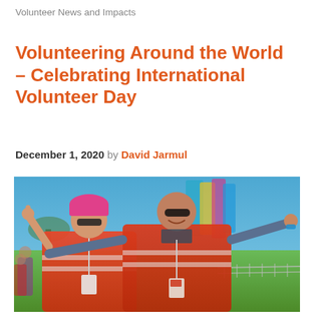Volunteer News and Impacts
Volunteering Around the World – Celebrating International Volunteer Day
December 1, 2020 by David Jarmul
[Figure (photo): Two volunteers wearing orange/red high-visibility vests with reflective strips, standing outdoors at an event on a sunny day. The woman on the left has a pink hat and sunglasses and is giving a thumbs up. The man on the right is wearing sunglasses and has his arms spread wide. They are smiling at the camera. Green grass and colorful banners are visible in the background under a blue sky.]